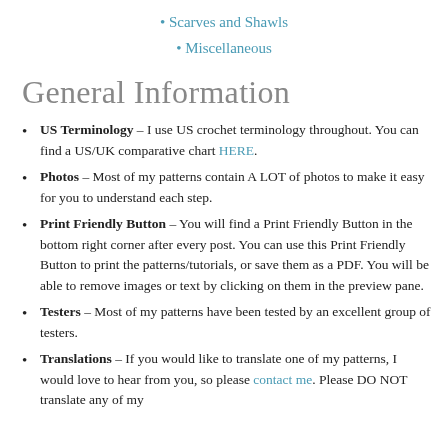Scarves and Shawls
Miscellaneous
General Information
US Terminology – I use US crochet terminology throughout. You can find a US/UK comparative chart HERE.
Photos – Most of my patterns contain A LOT of photos to make it easy for you to understand each step.
Print Friendly Button – You will find a Print Friendly Button in the bottom right corner after every post. You can use this Print Friendly Button to print the patterns/tutorials, or save them as a PDF. You will be able to remove images or text by clicking on them in the preview pane.
Testers – Most of my patterns have been tested by an excellent group of testers.
Translations – If you would like to translate one of my patterns, I would love to hear from you, so please contact me. Please DO NOT translate any of my